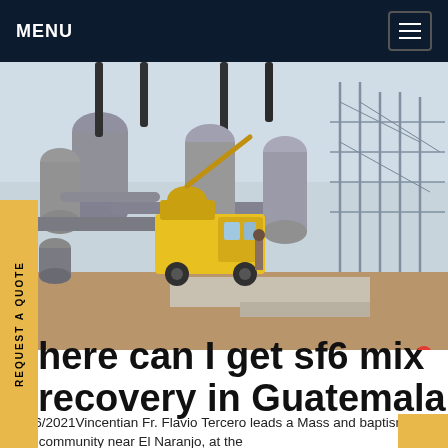MENU
[Figure (photo): Electrical substation with high-voltage equipment, gray cylindrical transformers, pipes, and a yellow utility truck parked in the facility. Power transmission towers visible in the background. SF6China watermark in lower right.]
REQUEST A QUOTE
here can I get sf6 mix recovery in Guatemala
11/06/2021Vincentian Fr. Flavio Tercero leads a Mass and baptism for a community near El Naranjo, at the